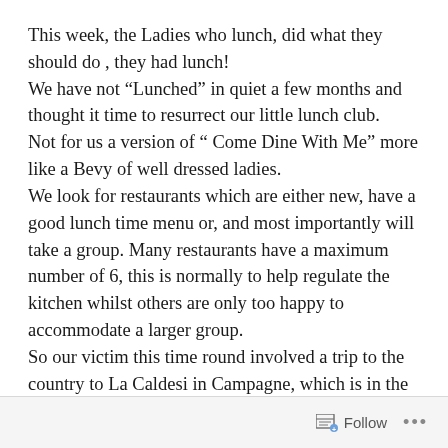This week, the Ladies who lunch, did what they should do , they had lunch! We have not “Lunched” in quiet a few months and thought it time to resurrect our little lunch club. Not for us a version of “ Come Dine With Me” more like a Bevy of well dressed ladies. We look for restaurants which are either new, have a good lunch time menu or, and most importantly will take a group. Many restaurants have a maximum number of 6, this is normally to help regulate the kitchen whilst others are only too happy to accommodate a larger group. So our victim this time round involved a trip to the country to La Caldesi in Campagne, which is in the village of Bray in Berkshire.
Follow ...